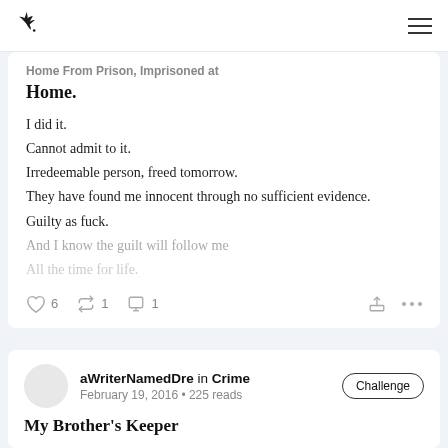Wattpad logo and navigation
Home From Prison, Imprisoned at Home.
I did it.
Cannot admit to it.
Irredeemable person, freed tomorrow.
They have found me innocent through no sufficient evidence.
Guilty as fuck.
And I know the guilt will follow me
All the time for life.
6 likes · 1 reposts · 1 comments
aWriterNamedDre in Crime · Challenge
February 19, 2016 • 225 reads
My Brother's Keeper